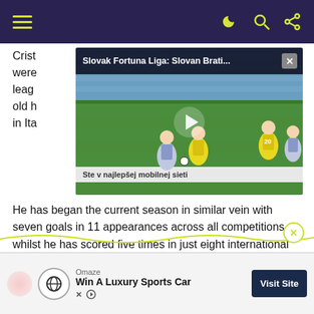Navigation header with hamburger menu and icons
[Figure (screenshot): Video overlay showing Slovak Fortuna Liga: Slovan Brati... football match with play button, overlaid on article text]
Crist... were... leag... ar- old h... on in Ita...
He has began the current season in similar vein with seven goals in 11 appearances across all competitions, whilst he has scored five times in just eight international appearances in 2021.
[Figure (other): Omaze advertisement banner: Win A Luxury Sports Car, Visit Site button]